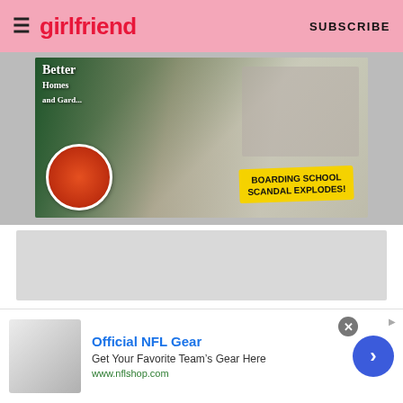girlfriend | SUBSCRIBE
[Figure (photo): Magazine covers collage banner advertisement showing Better Homes and Gardens and other magazines with headline 'BOARDING SCHOOL SCANDAL EXPLODES!']
[Figure (other): Grey advertisement placeholder rectangle]
You can watch the full video, which we’re hereby calling “ten minutes of reality TV’s best couple being perfectly cheesy and cute,” below. Full warning, folks, it’s nothing but incredibly wholesome.
G  YOUTUBE  NETFLIX
[Figure (other): Bottom advertisement for Official NFL Gear with image, title 'Official NFL Gear', description 'Get Your Favorite Team’s Gear Here', URL 'www.nflshop.com', close button and navigation arrow]